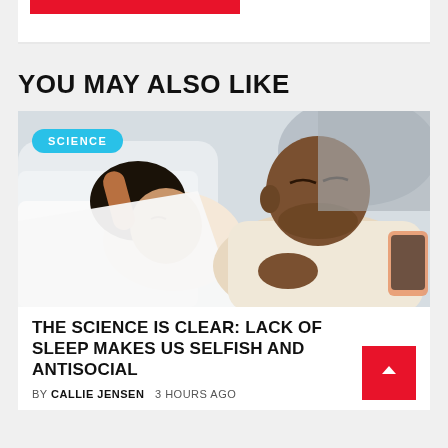[Figure (other): Red decorative bar at top of card]
YOU MAY ALSO LIKE
[Figure (photo): Two people lying in bed — a woman with dark hair under white covers and a man in a cream t-shirt with a bracelet, both appearing to be resting or sleeping. A phone is visible to the right. A 'SCIENCE' category badge overlays the top-left of the image.]
THE SCIENCE IS CLEAR: LACK OF SLEEP MAKES US SELFISH AND ANTISOCIAL
BY CALLIE JENSEN   3 HOURS AGO